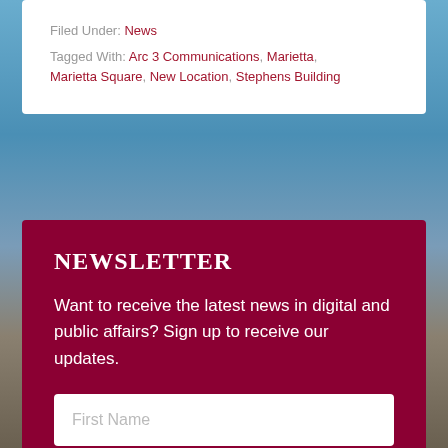Filed Under: News
Tagged With: Arc 3 Communications, Marietta, Marietta Square, New Location, Stephens Building
[Figure (photo): Background photo of a building dome/tower against a blue sky]
NEWSLETTER
Want to receive the latest news in digital and public affairs? Sign up to receive our updates.
First Name
Last Name